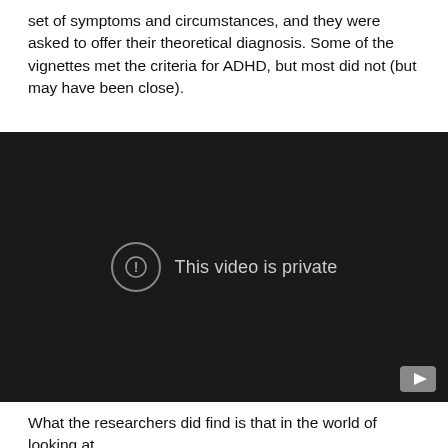set of symptoms and circumstances, and they were asked to offer their theoretical diagnosis. Some of the vignettes met the criteria for ADHD, but most did not (but may have been close).
[Figure (screenshot): Embedded video player with dark background showing 'This video is private' message with an exclamation mark icon and a YouTube play button in the bottom right corner.]
What the researchers did find is that in the world of looking at